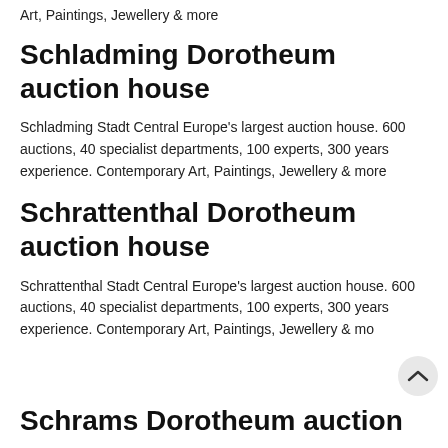Art, Paintings, Jewellery & more
Schladming Dorotheum auction house
Schladming Stadt Central Europe's largest auction house. 600 auctions, 40 specialist departments, 100 experts, 300 years experience. Contemporary Art, Paintings, Jewellery & more
Schrattenthal Dorotheum auction house
Schrattenthal Stadt Central Europe's largest auction house. 600 auctions, 40 specialist departments, 100 experts, 300 years experience. Contemporary Art, Paintings, Jewellery & mo
Schrams Dorotheum auction